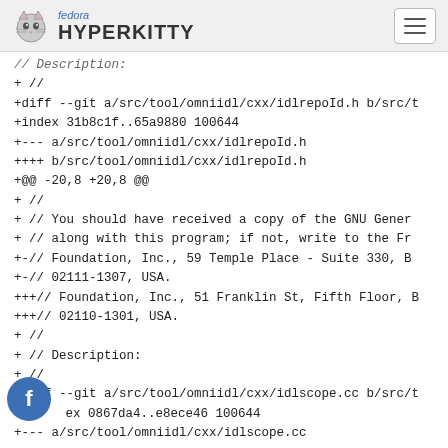fedora HYPERKITTY
// Description:
+ //
+diff --git a/src/tool/omniidl/cxx/idlrepoId.h b/src/t
+index 31b8c1f..65a9880 100644
+--- a/src/tool/omniidl/cxx/idlrepoId.h
++++ b/src/tool/omniidl/cxx/idlrepoId.h
+@@ -20,8 +20,8 @@
+ //
+ //  You should have received a copy of the GNU Gener
+ //  along with this program; if not, write to the Fr
++-//  Foundation, Inc., 59 Temple Place - Suite 330, B
++-//  02111-1307, USA.
+++//  Foundation, Inc., 51 Franklin St, Fifth Floor, B
+++//  02110-1301, USA.
+ //
+ // Description:
+ //
+diff --git a/src/tool/omniidl/cxx/idlscope.cc b/src/t
++index 0867da4..e8ece46 100644
++--- a/src/tool/omniidl/cxx/idlscope.cc